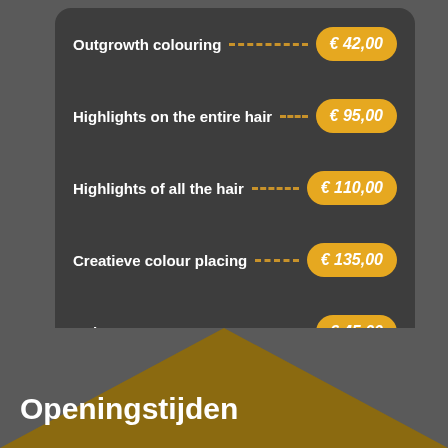Outgrowth colouring --- € 42,00
Highlights on the entire hair - € 95,00
Highlights of all the hair --- € 110,00
Creatieve colour placing --- € 135,00
Bob cut --- € 45,00
*1 hour
Interview --- € 0,00
*30 mins.
Openingstijden